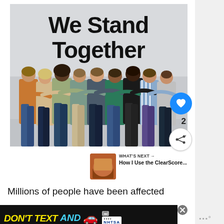[Figure (photo): Photo of diverse group of people standing with arms around each other viewed from behind, with large bold text 'We Stand Together' on the wall above them.]
We Stand Together
WHAT'S NEXT → How I Use the ClearScore...
Millions of people have been affected
[Figure (screenshot): Advertisement banner: DON'T TEXT AND [car emoji] ad NHTSA]